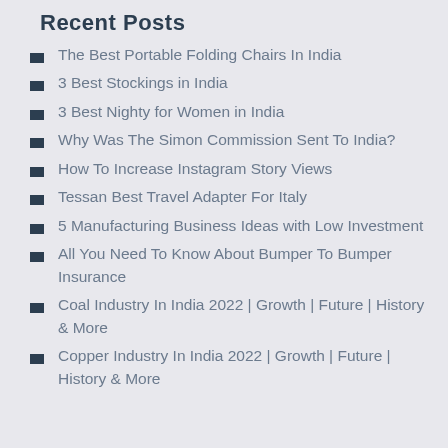Recent Posts
The Best Portable Folding Chairs In India
3 Best Stockings in India
3 Best Nighty for Women in India
Why Was The Simon Commission Sent To India?
How To Increase Instagram Story Views
Tessan Best Travel Adapter For Italy
5 Manufacturing Business Ideas with Low Investment
All You Need To Know About Bumper To Bumper Insurance
Coal Industry In India 2022 | Growth | Future | History & More
Copper Industry In India 2022 | Growth | Future | History & More